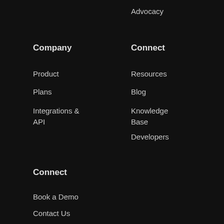Advocacy
Company
Connect
Product
Resources
Plans
Blog
Integrations & API
Knowledge Base
Developers
Connect
Book a Demo
Contact Us